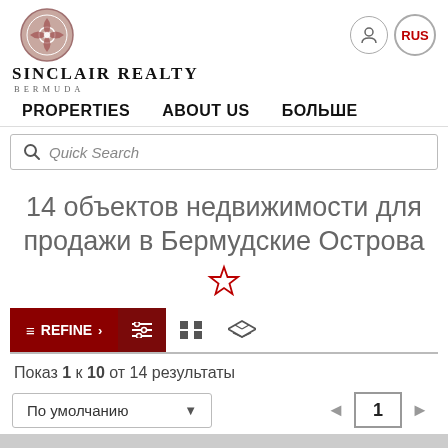[Figure (logo): Sinclair Realty Bermuda logo with circular emblem and company name]
RUS
PROPERTIES   ABOUT US   БОЛЬШЕ
Quick Search
14 объектов недвижимости для продажи в Бермудские Острова
≡ REFINE >
Показ 1 к 10 от 14 результаты
По умолчанию   ◄   1   ►